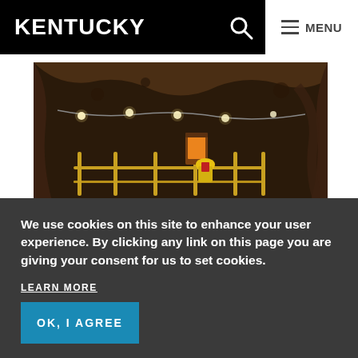KENTUCKY
[Figure (photo): Interior of a cave with string lights, metal railings, and a person in yellow gear visible in the background.]
We use cookies on this site to enhance your user experience. By clicking any link on this page you are giving your consent for us to set cookies.
LEARN MORE
OK, I AGREE